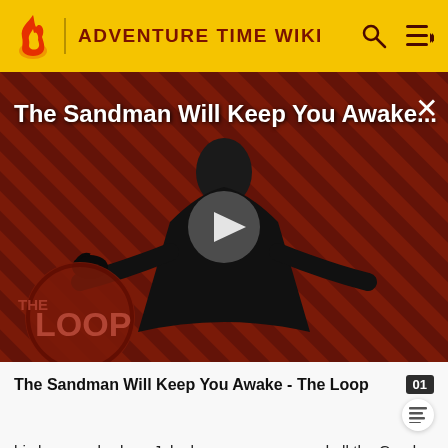ADVENTURE TIME WIKI
[Figure (screenshot): Video thumbnail for 'The Sandman Will Keep You Awake...' showing a dark figure in a black cloak against a red diagonal striped background, with a play button overlay and 'THE LOOP' watermark at bottom left.]
The Sandman Will Keep You Awake - The Loop
his legs are broken, Jake has gone crazy, and all the Candy People are missing.
Plot